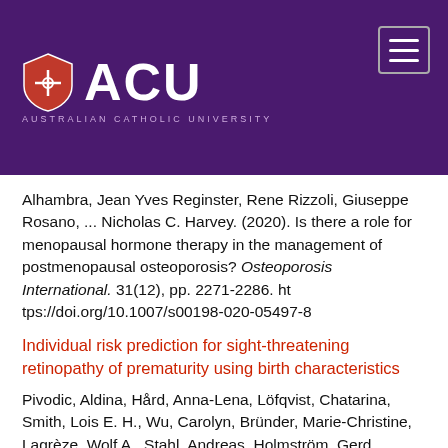[Figure (logo): Australian Catholic University (ACU) logo with shield and text on purple header background with hamburger menu icon]
Alhambra, Jean Yves Reginster, Rene Rizzoli, Giuseppe Rosano, ... Nicholas C. Harvey. (2020). Is there a role for menopausal hormone therapy in the management of postmenopausal osteoporosis? Osteoporosis International. 31(12), pp. 2271-2286. https://doi.org/10.1007/s00198-020-05497-8
Individual risk prediction for sight-threatening retinopathy of prematurity using birth characteristics
Pivodic, Aldina, Hård, Anna-Lena, Löfqvist, Chatarina, Smith, Lois E. H., Wu, Carolyn, Bründer, Marie-Christine, Lagrèze, Wolf A., Stahl, Andreas, Holmström, Gerd, Albertsson-Wikland, Kerstin, Johansson, Helena, Nilsson, Staffan and Hellström,